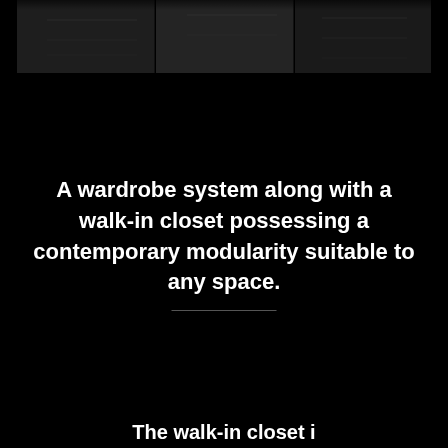[Figure (photo): Dark interior photograph of a walk-in closet or wardrobe space, showing shelving and dark panels, split into segments]
A wardrobe system along with a walk-in closet possessing a contemporary modularity suitable to any space.
The walk-in closet i